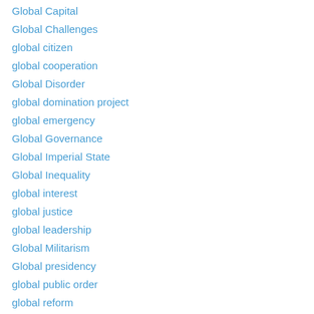Global Capital
Global Challenges
global citizen
global cooperation
Global Disorder
global domination project
global emergency
Global Governance
Global Imperial State
Global Inequality
global interest
global justice
global leadership
Global Militarism
Global presidency
global public order
global reform
global risks
global security
Global Solidarity